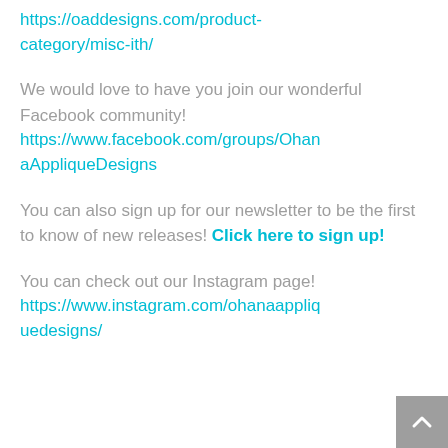https://oaddesigns.com/product-category/misc-ith/
We would love to have you join our wonderful Facebook community! https://www.facebook.com/groups/OhanaAppliqueDesigns
You can also sign up for our newsletter to be the first to know of new releases! Click here to sign up!
You can check out our Instagram page! https://www.instagram.com/ohanaappliquedesigns/